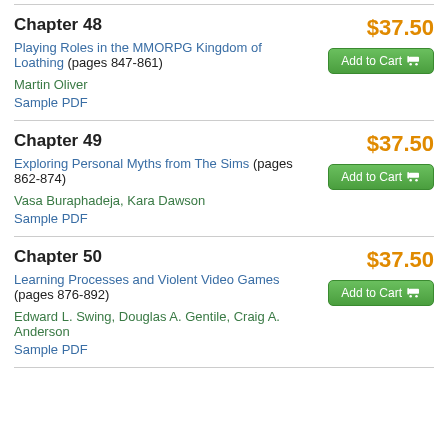Chapter 48
Playing Roles in the MMORPG Kingdom of Loathing (pages 847-861)
Martin Oliver
Sample PDF
$37.50
Chapter 49
Exploring Personal Myths from The Sims (pages 862-874)
Vasa Buraphadeja, Kara Dawson
Sample PDF
$37.50
Chapter 50
Learning Processes and Violent Video Games (pages 876-892)
Edward L. Swing, Douglas A. Gentile, Craig A. Anderson
Sample PDF
$37.50